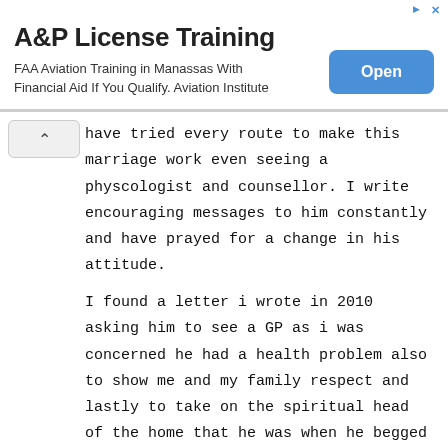[Figure (screenshot): Advertisement banner for A&P License Training. Title: 'A&P License Training'. Body: 'FAA Aviation Training in Manassas With Financial Aid If You Qualify. Aviation Institute'. Blue 'Open' button on the right.]
have tried every route to make this marriage work even seeing a physcologist and counsellor. I write encouraging messages to him constantly and have prayed for a change in his attitude.
I found a letter i wrote in 2010 asking him to see a GP as i was concerned he had a health problem also to show me and my family respect and lastly to take on the spiritual head of the home that he was when he begged me to marry him. To this day even after re reading my letter he has not replied